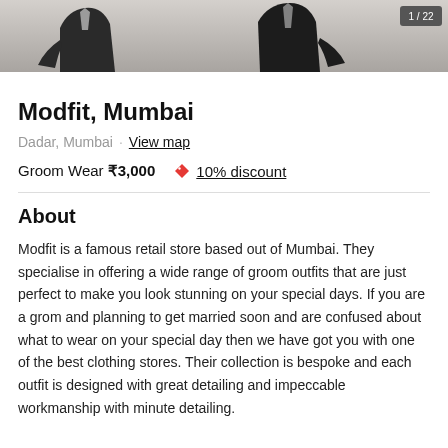[Figure (photo): Photo strip showing silhouettes of men in formal/suit attire, partially cropped at top of page. A dark badge/label appears in the top right corner.]
Modfit, Mumbai
Dadar, Mumbai · View map
Groom Wear ₹3,000   🏷 10% discount
About
Modfit is a famous retail store based out of Mumbai. They specialise in offering a wide range of groom outfits that are just perfect to make you look stunning on your special days. If you are a grom and planning to get married soon and are confused about what to wear on your special day then we have got you with one of the best clothing stores. Their collection is bespoke and each outfit is designed with great detailing and impeccable workmanship with minute detailing.